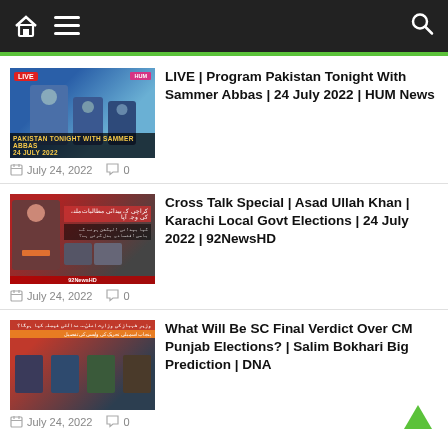Navigation bar with home, menu, and search icons
[Figure (screenshot): Thumbnail for LIVE Pakistan Tonight with Sammer Abbas show, 24 July 2022, HUM News]
LIVE | Program Pakistan Tonight With Sammer Abbas | 24 July 2022 | HUM News
July 24, 2022   0
[Figure (screenshot): Thumbnail for Cross Talk Special with Asad Ullah Khan about Karachi Local Govt Elections, 92NewsHD]
Cross Talk Special | Asad Ullah Khan | Karachi Local Govt Elections | 24 July 2022 | 92NewsHD
July 24, 2022   0
[Figure (screenshot): Thumbnail for What Will Be SC Final Verdict Over CM Punjab Elections? Salim Bokhari Big Prediction DNA]
What Will Be SC Final Verdict Over CM Punjab Elections? | Salim Bokhari Big Prediction | DNA
July 24, 2022   0